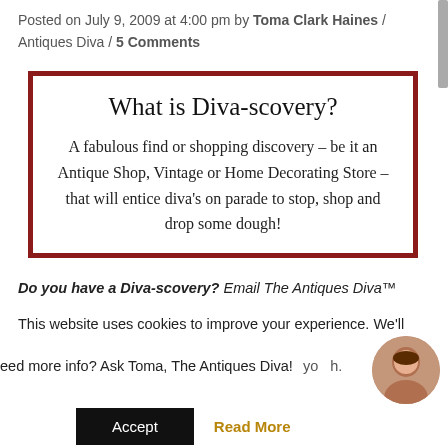Posted on July 9, 2009 at 4:00 pm by Toma Clark Haines / Antiques Diva / 5 Comments
What is Diva-scovery?
A fabulous find or shopping discovery – be it an Antique Shop, Vintage or Home Decorating Store – that will entice diva's on parade to stop, shop and drop some dough!
Do you have a Diva-scovery? Email The Antiques Diva™
This website uses cookies to improve your experience. We'll
eed more info? Ask Toma, The Antiques Diva! yo h.
Accept  Read More